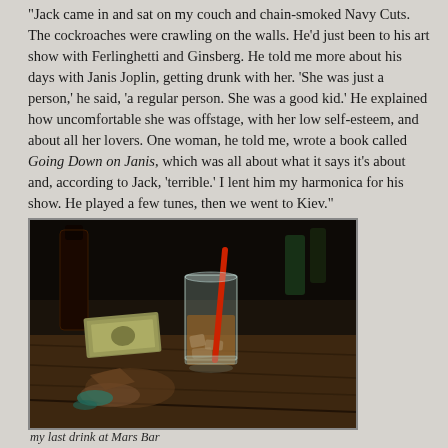"Jack came in and sat on my couch and chain-smoked Navy Cuts. The cockroaches were crawling on the walls. He'd just been to his art show with Ferlinghetti and Ginsberg. He told me more about his days with Janis Joplin, getting drunk with her. 'She was just a person,' he said, 'a regular person. She was a good kid.' He explained how uncomfortable she was offstage, with her low self-esteem, and about all her lovers. One woman, he told me, wrote a book called Going Down on Janis, which was all about what it says it's about and, according to Jack, 'terrible.' I lent him my harmonica for his show. He played a few tunes, then we went to Kiev."
[Figure (photo): A glass with a red straw containing a drink with ice sits on a worn wooden bar counter. Dollar bills are folded on the left side of the bar. A dark bottle is partially visible in the background.]
my last drink at Mars Bar